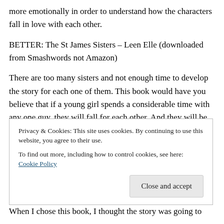more emotionally in order to understand how the characters fall in love with each other.
BETTER: The St James Sisters – Leen Elle (downloaded from Smashwords not Amazon)
There are too many sisters and not enough time to develop the story for each one of them. This book would have you believe that if a young girl spends a considerable time with any one guy, they will fall for each other. And they will be so in love that they will be willing to overcome all odds to be together.
Privacy & Cookies: This site uses cookies. By continuing to use this website, you agree to their use.
To find out more, including how to control cookies, see here: Cookie Policy
When I chose this book, I thought the story was going to